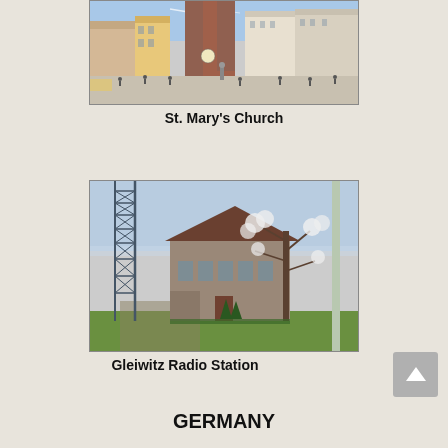[Figure (photo): Photo of St. Mary's Church in a large town square with people walking around, colorful historic buildings, and a gothic church with twin towers in the background]
St. Mary's Church
[Figure (photo): Photo of Gleiwitz Radio Station building with a tall metal lattice radio tower on the left, a dark-roofed brick building in the center, and a bare tree on the right]
Gleiwitz Radio Station
GERMANY